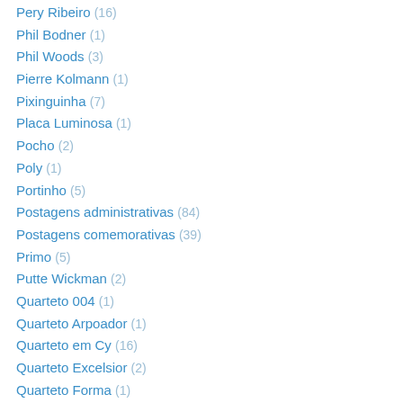Pery Ribeiro (16)
Phil Bodner (1)
Phil Woods (3)
Pierre Kolmann (1)
Pixinguinha (7)
Placa Luminosa (1)
Pocho (2)
Poly (1)
Portinho (5)
Postagens administrativas (84)
Postagens comemorativas (39)
Primo (5)
Putte Wickman (2)
Quarteto 004 (1)
Quarteto Arpoador (1)
Quarteto em Cy (16)
Quarteto Excelsior (2)
Quarteto Forma (1)
Quarteto Lambari (1)
Quarteto Negro (1)